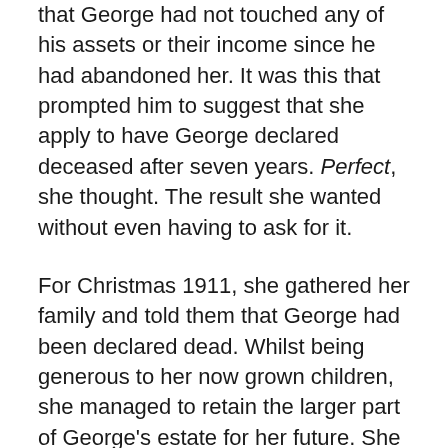that George had not touched any of his assets or their income since he had abandoned her. It was this that prompted him to suggest that she apply to have George declared deceased after seven years. Perfect, she thought. The result she wanted without even having to ask for it.
For Christmas 1911, she gathered her family and told them that George had been declared dead. Whilst being generous to her now grown children, she managed to retain the larger part of George's estate for her future. She then announced that that future would be in America, that she had waited all her life for a little luxury and adventure and that she would be sailing in the New Year.
The following spring, on a breezy afternoon, she